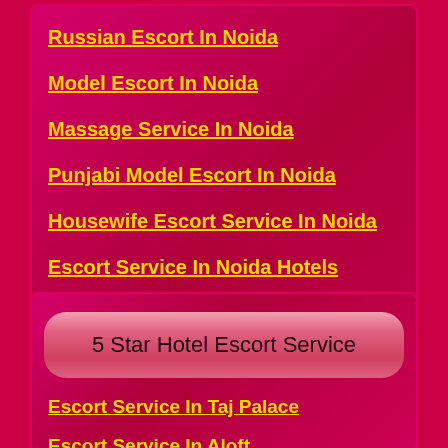Russian Escort In Noida
Model Escort In Noida
Massage Service In Noida
Punjabi Model Escort In Noida
Housewife Escort Service In Noida
Escort Service In Noida Hotels
5 Star Hotel Escort Service
Escort Service In Taj Palace
Escort Service In Aloft...